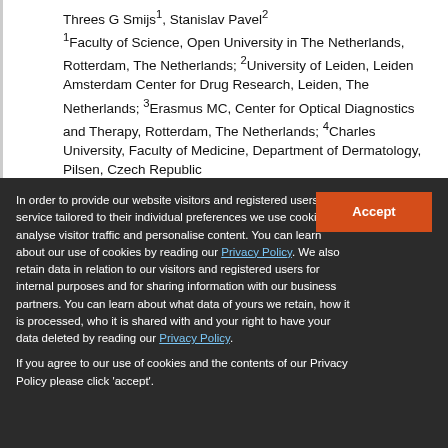Threes G Smijs1, Stanislav Pavel2
1Faculty of Science, Open University in The Netherlands, Rotterdam, The Netherlands; 2University of Leiden, Leiden Amsterdam Center for Drug Research, Leiden, The Netherlands; 3Erasmus MC, Center for Optical Diagnostics and Therapy, Rotterdam, The Netherlands; 4Charles University, Faculty of Medicine, Department of Dermatology, Pilsen, Czech Republic
Abstract: Sunscreens are used to provide protection against adverse effects of ultraviolet (UV)B (290–320 nm) and UVA (320–400 nm) radiation. According to the United States Food
In order to provide our website visitors and registered users with a service tailored to their individual preferences we use cookies to analyse visitor traffic and personalise content. You can learn about our use of cookies by reading our Privacy Policy. We also retain data in relation to our visitors and registered users for internal purposes and for sharing information with our business partners. You can learn about what data of yours we retain, how it is processed, who it is shared with and your right to have your data deleted by reading our Privacy Policy. If you agree to our use of cookies and the contents of our Privacy Policy please click 'accept'.